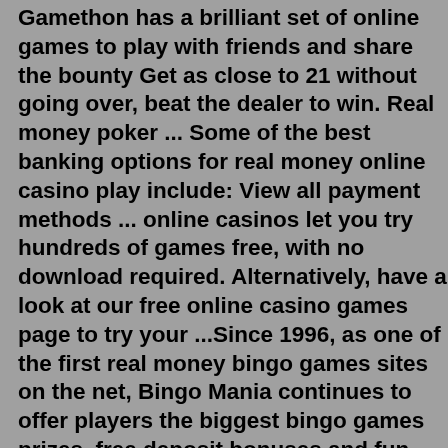Gamethon has a brilliant set of online games to play with friends and share the bounty Get as close to 21 without going over, beat the dealer to win. Real money poker ... Some of the best banking options for real money online casino play include: View all payment methods ... online casinos let you try hundreds of games free, with no download required. Alternatively, have a look at our free online casino games page to try your ...Since 1996, as one of the first real money bingo games sites on the net, Bingo Mania continues to offer players the biggest bingo games prizes, free deposit bonuses and fun-filled games. When it comes to playing online bingo for money, discerning players have made BingoMania their preferred destination for the past 19+ years.Jul 14, 2022 · 14. 2022. The no deposit bonus is the perfect option for U.S. players interested in checking out a casino, risk free, without the need to make a first deposit. By simply signing up, a zero deposit casino bonus provides your account free credits that can be used to play games and chance to win real money. In